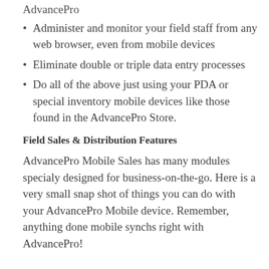AdvancePro
Administer and monitor your field staff from any web browser, even from mobile devices
Eliminate double or triple data entry processes
Do all of the above just using your PDA or special inventory mobile devices like those found in the AdvancePro Store.
Field Sales & Distribution Features
AdvancePro Mobile Sales has many modules specialy designed for business-on-the-go. Here is a very small snap shot of things you can do with your AdvancePro Mobile device. Remember, anything done mobile synchs right with AdvancePro!